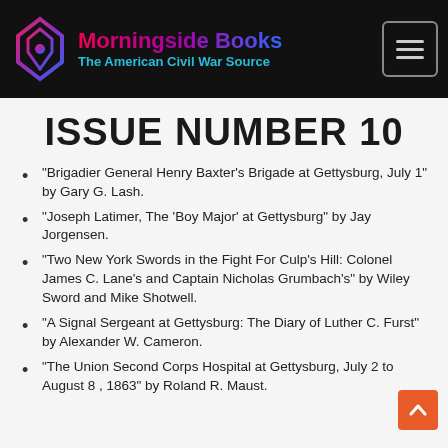[Figure (logo): Morningside Books logo with geometric arrow/diamond shape in purple-pink gradient, brand name in gradient text, tagline in cyan]
ISSUE NUMBER 10
“Brigadier General Henry Baxter’s Brigade at Gettysburg, July 1” by Gary G. Lash.
“Joseph Latimer, The ‘Boy Major’ at Gettysburg” by Jay Jorgensen.
“Two New York Swords in the Fight For Culp’s Hill: Colonel James C. Lane’s and Captain Nicholas Grumbach’s” by Wiley Sword and Mike Shotwell.
“A Signal Sergeant at Gettysburg: The Diary of Luther C. Furst” by Alexander W. Cameron.
“The Union Second Corps Hospital at Gettysburg, July 2 to August 8, 1863” by Roland R. Maust.